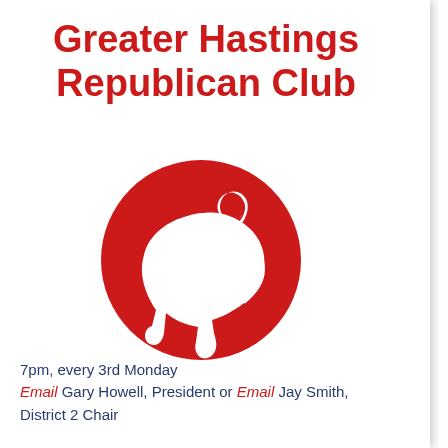Greater Hastings Republican Club
[Figure (logo): Red circular logo with a white elephant silhouette inside, Republican party elephant symbol]
7pm, every 3rd Monday
Email Gary Howell, President or Email Jay Smith, District 2 Chair